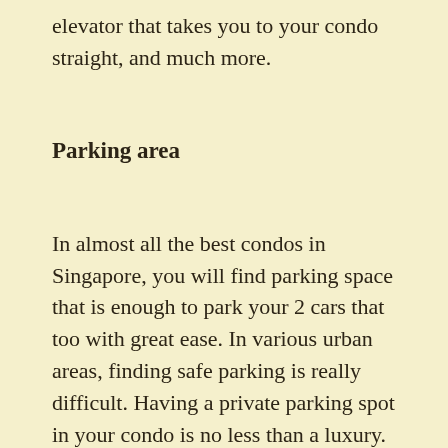elevator that takes you to your condo straight, and much more.
Parking area
In almost all the best condos in Singapore, you will find parking space that is enough to park your 2 cars that too with great ease. In various urban areas, finding safe parking is really difficult. Having a private parking spot in your condo is no less than a luxury.